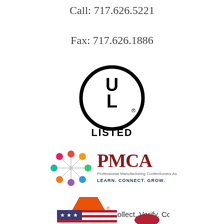Call: 717.626.5221
Fax: 717.626.1886
[Figure (logo): UL Listed certification logo: circle with UL letters and registered trademark symbol, with LISTED text below in bold]
[Figure (logo): PMCA - Professional Manufacturing Confectioners Association logo with colorful dot/node graphic and tagline LEARN. CONNECT. GROW.]
[Figure (logo): ISN logo - orange hexagon shape with ISN text, followed by Collect. Verify. Connect. tagline]
[Figure (logo): Partial American flag logo at bottom of page]